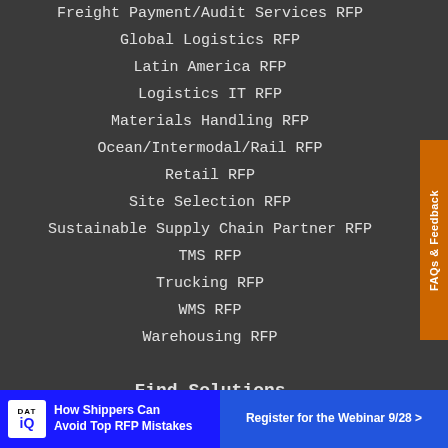Freight Payment/Audit Services RFP
Global Logistics RFP
Latin America RFP
Logistics IT RFP
Materials Handling RFP
Ocean/Intermodal/Rail RFP
Retail RFP
Site Selection RFP
Sustainable Supply Chain Partner RFP
TMS RFP
Trucking RFP
WMS RFP
Warehousing RFP
Find Solutions
Find a 3PL/Warehouse
Find an Air Forwarder
[Figure (infographic): DAT iQ advertisement banner: 'How Shippers Can Avoid Top RFP Mistakes' with button 'Register for the Webinar 9/28 >']